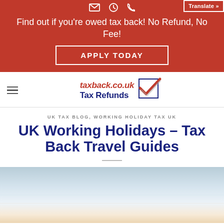Find out if you're owed tax back! No Refund, No Fee! APPLY TODAY | Translate »
[Figure (logo): taxback.co.uk Tax Refunds logo with red checkmark in a box]
UK TAX BLOG, WORKING HOLIDAY TAX UK
UK Working Holidays – Tax Back Travel Guides
[Figure (photo): Sky and horizon landscape background photo]